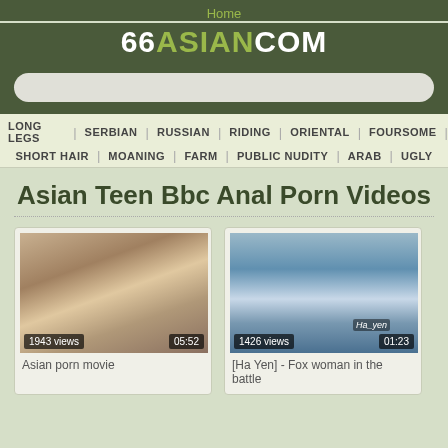Home
66ASIANCOM
LONG LEGS | SERBIAN | RUSSIAN | RIDING | ORIENTAL | FOURSOME | SHORT HAIR | MOANING | FARM | PUBLIC NUDITY | ARAB | UGLY
Asian Teen Bbc Anal Porn Videos
[Figure (screenshot): Video thumbnail showing two people, 1943 views, duration 05:52]
Asian porn movie
[Figure (screenshot): Video thumbnail showing close-up scene with Ha_yen watermark, 1426 views, duration 01:23]
[Ha Yen] - Fox woman in the battle